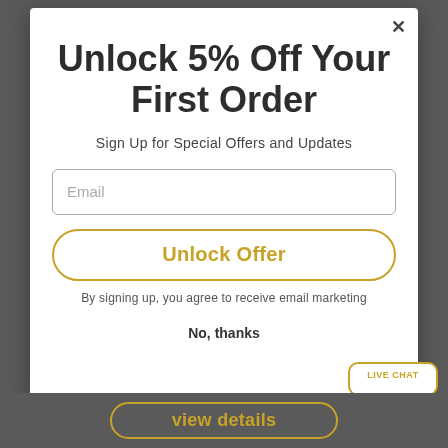Unlock 5% Off Your First Order
Sign Up for Special Offers and Updates
Email
Unlock Offer
By signing up, you agree to receive email marketing
No, thanks
LIVE CHAT
view details